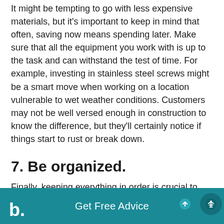It might be tempting to go with less expensive materials, but it's important to keep in mind that often, saving now means spending later. Make sure that all the equipment you work with is up to the task and can withstand the test of time. For example, investing in stainless steel screws might be a smart move when working on a location vulnerable to wet weather conditions. Customers may not be well versed enough in construction to know the difference, but they'll certainly notice if things start to rust or break down.
7. Be organized.
Finally, keeping everything in order is crucial to running a smooth business. You want to maintain thorough bookkeeping in order to ensure you're...
b. Get Free Advice